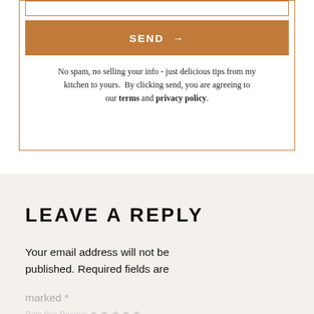SEND →
No spam, no selling your info - just delicious tips from my kitchen to yours. By clicking send, you are agreeing to our terms and privacy policy.
LEAVE A REPLY
Your email address will not be published. Required fields are
marked *
Rate this Recipe: ★★★★★